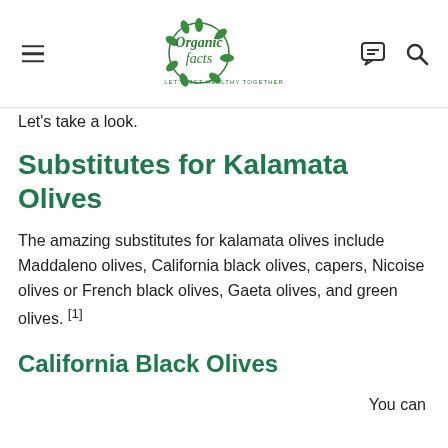Organic Facts — Let's Get Healthy Together
Let's take a look.
Substitutes for Kalamata Olives
The amazing substitutes for kalamata olives include Maddaleno olives, California black olives, capers, Nicoise olives or French black olives, Gaeta olives, and green olives. [1]
California Black Olives
You can